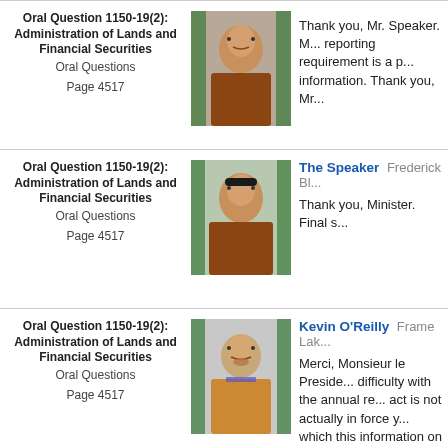Oral Question 1150-19(2): Administration of Lands and Financial Securities
Oral Questions
Page 4517
Thank you, Mr. Speaker. M... reporting requirement is a p... information. Thank you, Mr...
[Figure (photo): Portrait photo of a person wearing traditional Indigenous clothing]
Oral Question 1150-19(2): Administration of Lands and Financial Securities
Oral Questions
Page 4517
The Speaker Frederick Bl...
Thank you, Minister. Final s...
[Figure (photo): Portrait photo of The Speaker wearing traditional Indigenous clothing]
Oral Question 1150-19(2): Administration of Lands and Financial Securities
Oral Questions
Page 4517
Kevin O'Reilly Frame Lak...
Merci, Monsieur le Preside... difficulty with the annual re... act is not actually in force y... which this information on fi... available even on an annual basis in ac... Mr. Speaker.
[Figure (photo): Portrait photo of Kevin O'Reilly, Frame Lake representative, wearing traditional vest]